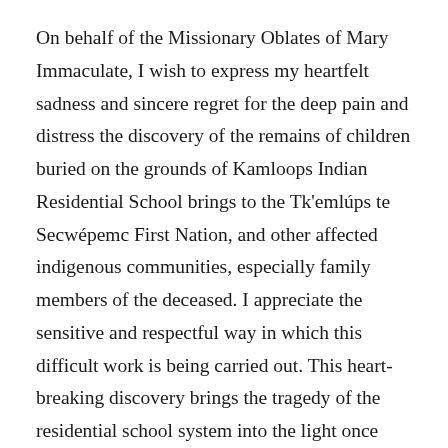On behalf of the Missionary Oblates of Mary Immaculate, I wish to express my heartfelt sadness and sincere regret for the deep pain and distress the discovery of the remains of children buried on the grounds of Kamloops Indian Residential School brings to the Tk'emlúps te Secwépemc First Nation, and other affected indigenous communities, especially family members of the deceased. I appreciate the sensitive and respectful way in which this difficult work is being carried out. This heart-breaking discovery brings the tragedy of the residential school system into the light once again and demands that we continue to confront its legacy.